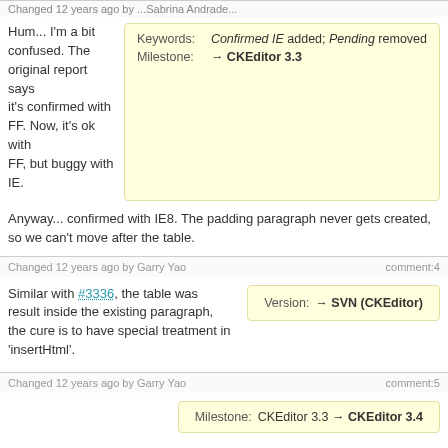Changed 12 years ago by ...Sabrina Andrade... (partial, cut off at top)
Hum... I'm a bit confused. The original report says it's confirmed with FF. Now, it's ok with FF, but buggy with IE.
Keywords: Confirmed IE added; Pending removed
Milestone: → CKEditor 3.3
Anyway... confirmed with IE8. The padding paragraph never gets created, so we can't move after the table.
Changed 12 years ago by Garry Yao
comment:4
Similar with #3336, the table was result inside the existing paragraph, the cure is to have special treatment in 'insertHtml'.
Version: → SVN (CKEditor)
Changed 12 years ago by Garry Yao
comment:5
Milestone: CKEditor 3.3 → CKEditor 3.4
Changed 12 years ago by Garry Yao
Attachment: 4898.patch added